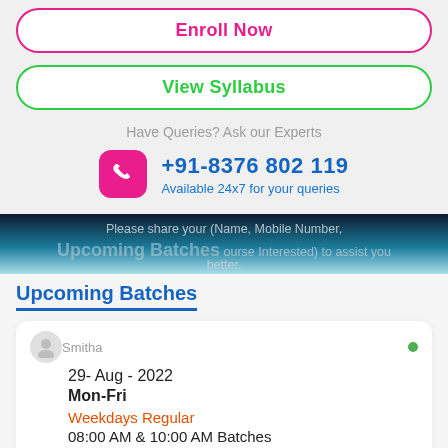Enroll Now
View Syllabus
Have Queries? Ask our Experts
+91-8376 802 119
Available 24x7 for your queries
Please share your (Name, Mobile Number, Course Interested) to assist you better.
Upcoming Batches
29- Aug - 2022
Mon-Fri
Weekdays Regular
08:00 AM & 10:00 AM Batches